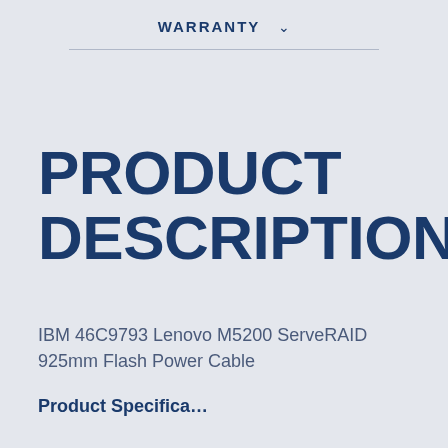WARRANTY
PRODUCT DESCRIPTION
IBM 46C9793 Lenovo M5200 ServeRAID 925mm Flash Power Cable
Product Specifications